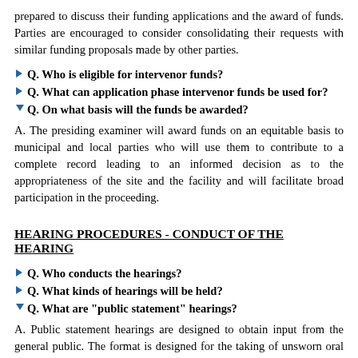prepared to discuss their funding applications and the award of funds. Parties are encouraged to consider consolidating their requests with similar funding proposals made by other parties.
Q. Who is eligible for intervenor funds?
Q. What can application phase intervenor funds be used for?
Q. On what basis will the funds be awarded?
A. The presiding examiner will award funds on an equitable basis to municipal and local parties who will use them to contribute to a complete record leading to an informed decision as to the appropriateness of the site and the facility and will facilitate broad participation in the proceeding.
HEARING PROCEDURES - CONDUCT OF THE HEARING
Q. Who conducts the hearings?
Q. What kinds of hearings will be held?
Q. What are "public statement" hearings?
A. Public statement hearings are designed to obtain input from the general public. The format is designed for the taking of unsworn oral statements, although written statements ordinarily may also be submitted. Parties to the proceeding are not permitted to cross